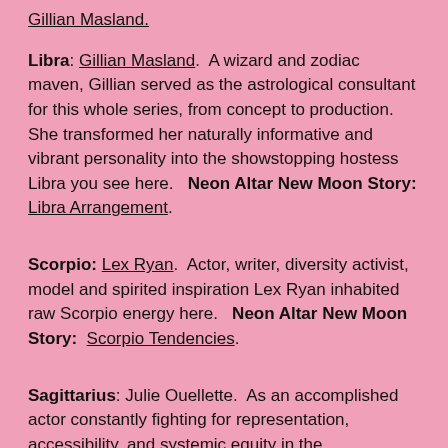Libra: Gillian Masland.  A wizard and zodiac maven, Gillian served as the astrological consultant for this whole series, from concept to production.  She transformed her naturally informative and vibrant personality into the showstopping hostess Libra you see here.   Neon Altar New Moon Story: Libra Arrangement.
Scorpio: Lex Ryan.  Actor, writer, diversity activist, model and spirited inspiration Lex Ryan inhabited raw Scorpio energy here.   Neon Altar New Moon Story: Scorpio Tendencies.
Sagittarius: Julie Ouellette.  As an accomplished actor constantly fighting for representation, accessibility, and systemic equity in the entertainment industry via The Commons,, Julie had no problem instantly tapping into the archer-seeker-energetic energy of Sagittarius.  Neon Altar